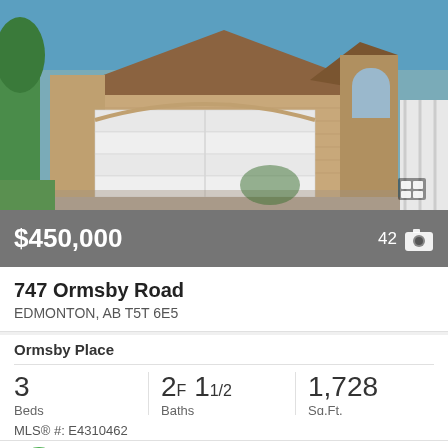[Figure (photo): Exterior photo of a brick house with double white garage door, brown/tan brick facade, arched window on right side, blue sky background, green lawn, concrete driveway]
$450,000
42
747 Ormsby Road
EDMONTON, AB T5T 6E5
Ormsby Place
3 Beds
2F 11/2 Baths
1,728 Sq.Ft.
MLS® #: E4310462
sy Of Peter Leveille Of Ab Realty Ltd